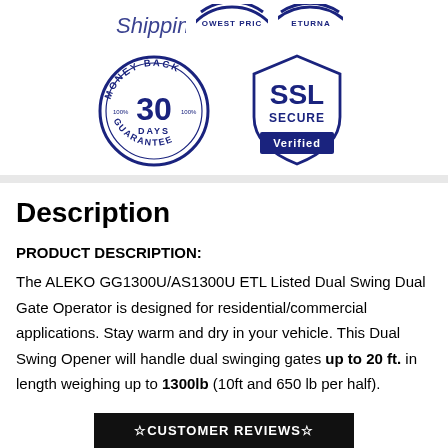[Figure (illustration): Trust badges row: partial 'Shipping' text badge on left, partial 'Lowest Price' circular badge in center, partial 'Returns' circular badge on right — all partially cut off at top]
[Figure (illustration): Two trust badges: 'Money Back 30 Days Guarantee' circular badge on left, 'SSL Secure Verified' shield badge on right]
Description
PRODUCT DESCRIPTION:
The ALEKO GG1300U/AS1300U ETL Listed Dual Swing Dual Gate Operator is designed for residential/commercial applications. Stay warm and dry in your vehicle. This Dual Swing Opener will handle dual swinging gates up to 20 ft. in length weighing up to 1300lb (10ft and 650 lb per half).
☆CUSTOMER REVIEWS☆